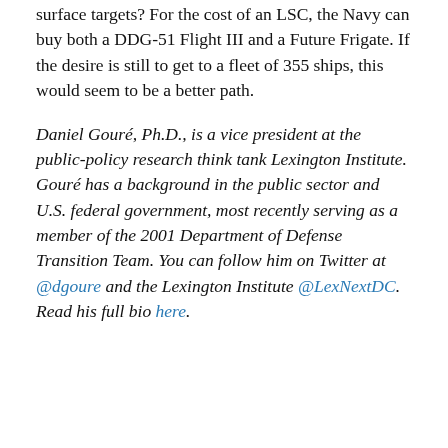surface targets? For the cost of an LSC, the Navy can buy both a DDG-51 Flight III and a Future Frigate. If the desire is still to get to a fleet of 355 ships, this would seem to be a better path.
Daniel Gouré, Ph.D., is a vice president at the public-policy research think tank Lexington Institute. Gouré has a background in the public sector and U.S. federal government, most recently serving as a member of the 2001 Department of Defense Transition Team. You can follow him on Twitter at @dgoure and the Lexington Institute @LexNextDC. Read his full bio here.